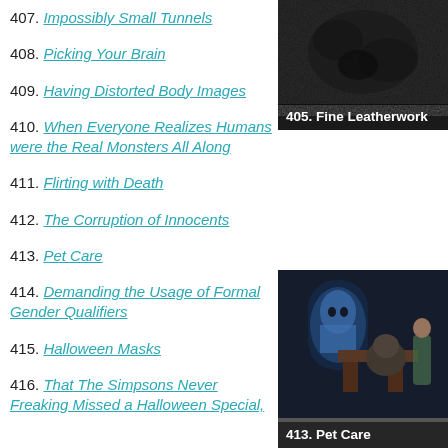407. Impossibly Small Tunnels
408. Picking Your Brain
409. Having Distorted Body Images
410. When Everyone Realizes Humans were the Real Monsters All Along
411. Flirting with Death
412. The Corruption of Innocents
413. Pet Care
414. Demanding the Usage of Formal Gender Qualifiers
415. Halloween Masks
416. That The Simpsons Never Freaking Missed a Halloween Special,
[Figure (photo): Dark grainy image with label '405. Fine Leatherwork']
[Figure (photo): Cartoon image of Scooby-Doo characters with label '413. Pet Care']